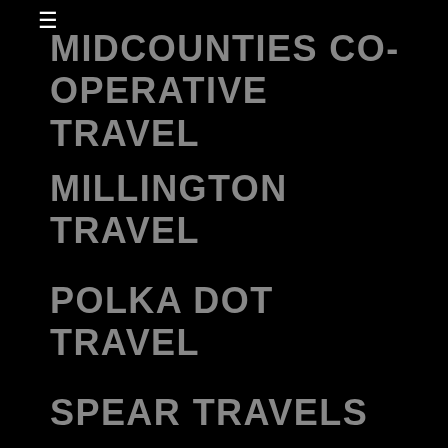MIDCOUNTIES CO-OPERATIVE TRAVEL
MILLINGTON TRAVEL
POLKA DOT TRAVEL
SPEAR TRAVELS